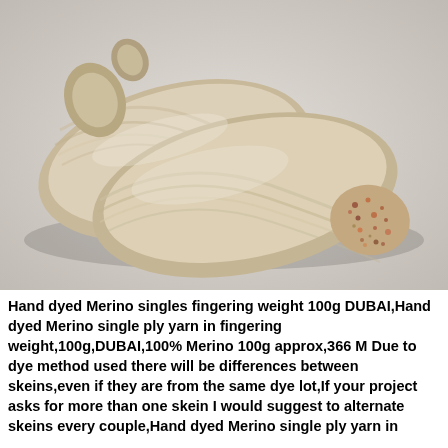[Figure (photo): Two skeins of hand-dyed Merino fingering weight yarn in a natural cream/beige color with speckled multicolor accents at one end, photographed on a light gray/white surface.]
Hand dyed Merino singles fingering weight 100g DUBAI,Hand dyed Merino single ply yarn in fingering weight,100g,DUBAI,100% Merino 100g approx,366 M Due to dye method used there will be differences between skeins,even if they are from the same dye lot,If your project asks for more than one skein I would suggest to alternate skeins every couple,Hand dyed Merino single ply yarn in